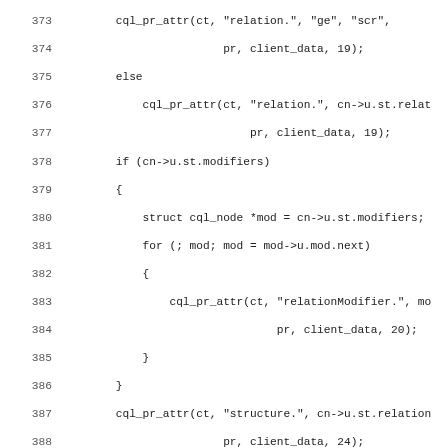[Figure (screenshot): Source code listing in a monospace font showing C code lines 373–405, with line numbers on the left and code on the right. The code handles CQL node processing including relation attributes, modifiers, structure, and boolean node cases.]